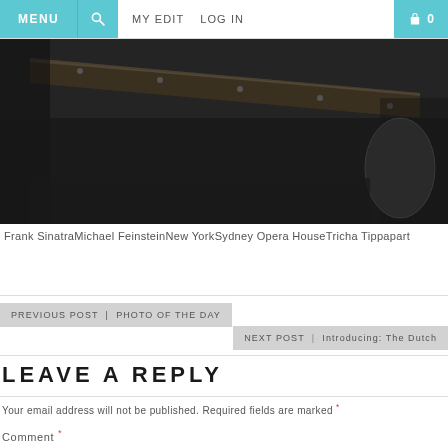MENU | SEARCH | MY EDIT | LOG IN | 0
[Figure (photo): Black and white photograph showing what appears to be a wooden beam or railing in close-up, dark and dramatic lighting]
Frank SinatraMichael FeinsteinNew YorkSydney Opera HouseTricha Tippapart
PREVIOUS POST | PHOTO OF THE DAY
NEXT POST | Introducing: The Dutch
LEAVE A REPLY
Your email address will not be published. Required fields are marked *
Comment *